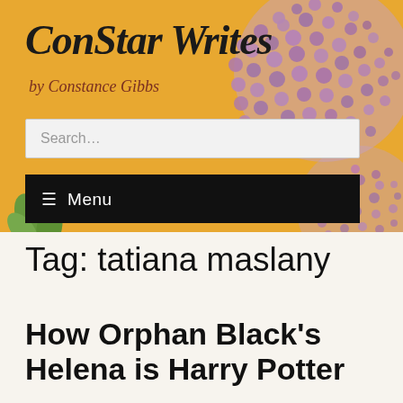[Figure (illustration): Website header banner with orange/golden background featuring purple allium flowers and green leaves. Contains the site logo 'ConStar Writes' in dark cursive script, subtitle 'by Constance Gibbs' in dark red italic, a search box, and a black menu bar.]
ConStar Writes
by Constance Gibbs
Search...
☰ Menu
Tag: tatiana maslany
How Orphan Black's Helena is Harry Potter